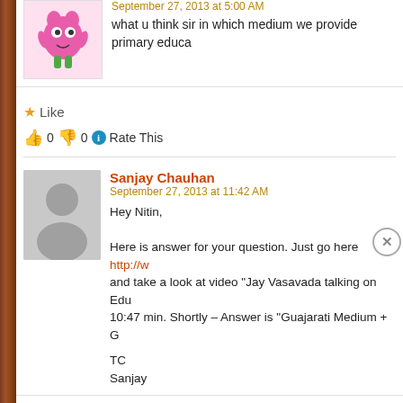September 27, 2013 at 5:00 AM
what u think sir in which medium we provide primary educa
★ Like
👍 0 👎 0 ℹ Rate This
Sanjay Chauhan
September 27, 2013 at 11:42 AM
Hey Nitin,

Here is answer for your question. Just go here http://w... and take a look at video "Jay Vasavada talking on Edu 10:47 min. Shortly – Answer is "Guajarati Medium + G

TC
Sanjay
Advertisements
[Figure (screenshot): DuckDuckGo advertisement banner: 'Search, browse, and email with more privacy. All in One Free App' with phone mockup and DuckDuckGo logo on orange/red background.]